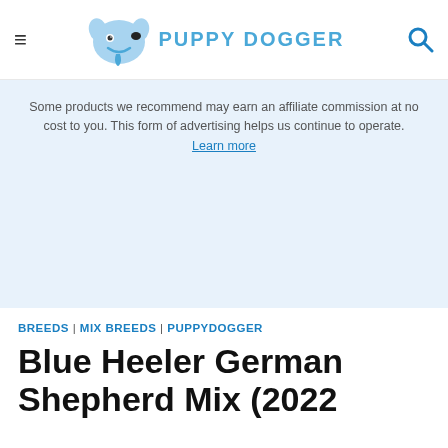PUPPY DOGGER
Some products we recommend may earn an affiliate commission at no cost to you. This form of advertising helps us continue to operate. Learn more
BREEDS | MIX BREEDS | PUPPYDOGGER
Blue Heeler German Shepherd Mix (2022